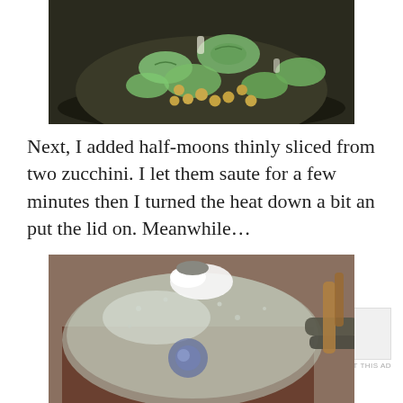[Figure (photo): A dark skillet/pan containing chickpeas and thinly sliced half-moon zucchini pieces being sautéed.]
Next, I added half-moons thinly sliced from two zucchini. I let them saute for a few minutes then I turned the heat down a bit an put the lid on. Meanwhile…
[Figure (other): An advertisement banner. P2 logo on left with text: Getting your team on the same page is easy. And free.]
[Figure (photo): A close-up photo of a glass lid on a dark copper/brown pan on a stove, with steam condensation visible on the lid. A wooden spoon and utensils are visible to the right.]